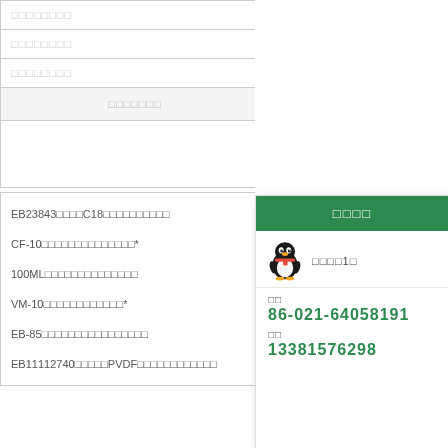| □□□□□□□□ |
| □□□□□□□□ |
| □□□□□□□□ |
| □□□□□□□ |
|  |
| EB23843□□□□C18□□□□□□□□□□ |
| CF-10□□□□□□□□□□□□□□* |
| 100ML□□□□□□□□□□□□□□ |
| VM-10□□□□□□□□□□□□* |
| EB-85□□□□□□□□□□□□□□□□ |
| EB11112740□□□□□PVDF□□□□□□□□□□□□ |
[Figure (screenshot): Contact popup overlay with green header showing Chinese characters, QQ penguin icon, phone number 86-021-64058191 and mobile 13381576298]
□□□□□□□□Shimadzu□□□□□□□□□□□□□□□□□□□□
| 221-44550 | REA |
| RT-24173 | TO- |
| 228-34366-91 | PR-9 |